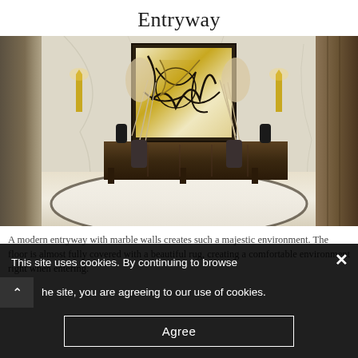Entryway
[Figure (photo): A modern entryway interior with marble walls, a dark wood console/sideboard, large abstract artwork, brass wall sconces, pampas grass in vases, and a cream/white area rug on a dark floor.]
A modern entryway with marble walls creates such a majestic environment. The floor is almost fully covered with a beautiful rug, creating a comfortable environment right when entering.
This site uses cookies. By continuing to browse the site, you are agreeing to our use of cookies.
Agree